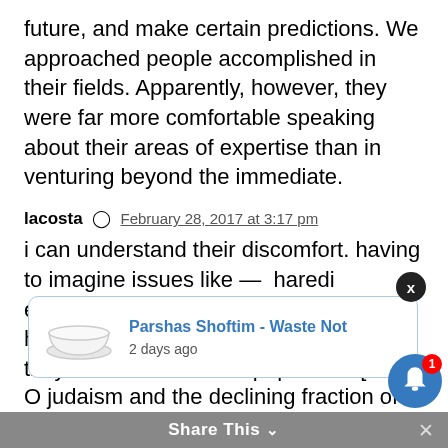future, and make certain predictions. We approached people accomplished in their fields. Apparently, however, they were far more comfortable speaking about their areas of expertise than in venturing beyond the immediate.
lacosta  February 28, 2017 at 3:17 pm
i can understand their discomfort. having to imagine issues like —  haredi economics in israel and chu'l, the role of haredim in governance in israel when they are 30-40% of the population [ and having to make al-derech-hatevah decisions ]the continued ...OTD and ...in shana ...emise of r... O judaism and the declining fraction of
[Figure (screenshot): Notification popup showing 'Parshas Shoftim - Waste Not' with image of a white bowl, posted 2 days ago, with a blue notification bell icon with red badge showing 1, and a Share This bar at the bottom]